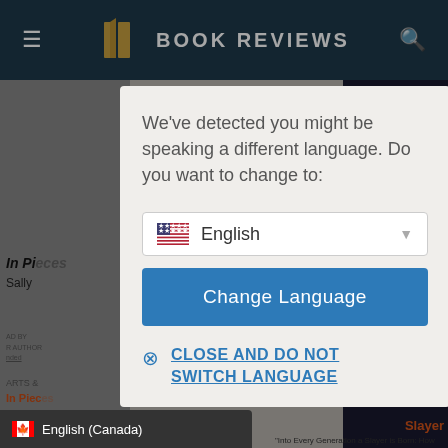BOOK REVIEWS
[Figure (screenshot): Website background showing book review page with two books partially visible and dimmed overlay behind modal]
We've detected you might be speaking a different language. Do you want to change to:
English
Change Language
CLOSE AND DO NOT SWITCH LANGUAGE
English (Canada)